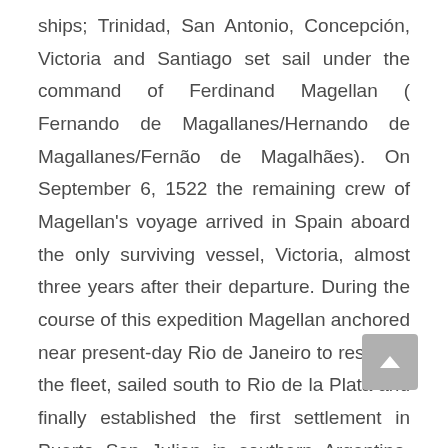ships; Trinidad, San Antonio, Concepción, Victoria and Santiago set sail under the command of Ferdinand Magellan ( Fernando de Magallanes/Hernando de Magallanes/Fernão de Magalhães). On September 6, 1522 the remaining crew of Magellan's voyage arrived in Spain aboard the only surviving vessel, Victoria, almost three years after their departure. During the course of this expedition Magellan anchored near present-day Rio de Janeiro to resupply the fleet, sailed south to Rio de la Plata and finally established the first settlement in Puerto San Julian in southern Argentina, where they decided to spend the rough winter getting ready for the next phase of their trip. While in Puerto San Julián, they interacted with the native population, which they named